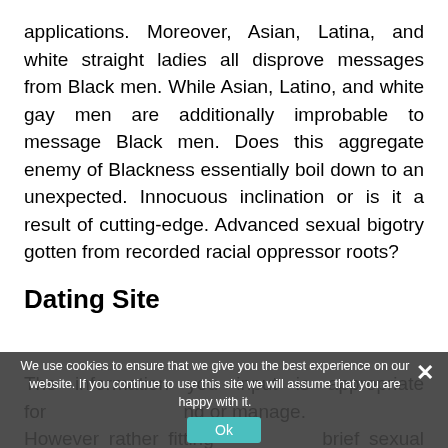applications. Moreover, Asian, Latina, and white straight ladies all disprove messages from Black men. While Asian, Latino, and white gay men are additionally improbable to message Black men. Does this aggregate enemy of Blackness essentially boil down to an unexpected. Innocuous inclination or is it a result of cutting-edge. Advanced sexual bigotry gotten from recorded racial oppressor roots?
Dating Site
The information you input is appropriate for ... ng or manage... However rather fitting ... brief sexual relations, ...
We use cookies to ensure that we give you the best experience on our website. If you continue to use this site we will assume that you are happy with it.